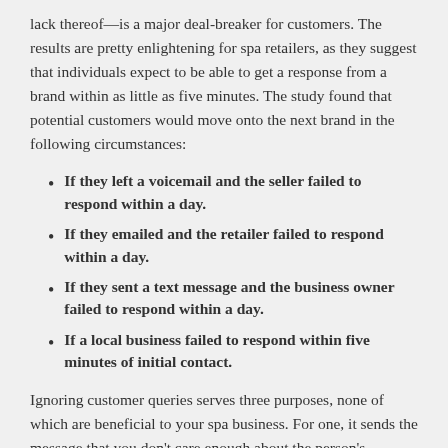lack thereof—is a major deal-breaker for customers. The results are pretty enlightening for spa retailers, as they suggest that individuals expect to be able to get a response from a brand within as little as five minutes. The study found that potential customers would move onto the next brand in the following circumstances:
If they left a voicemail and the seller failed to respond within a day.
If they emailed and the retailer failed to respond within a day.
If they sent a text message and the business owner failed to respond within a day.
If a local business failed to respond within five minutes of initial contact.
Ignoring customer queries serves three purposes, none of which are beneficial to your spa business. For one, it sends the message that you don't care enough about the person's business to make his or her communication a priority. Two, it tells prospective